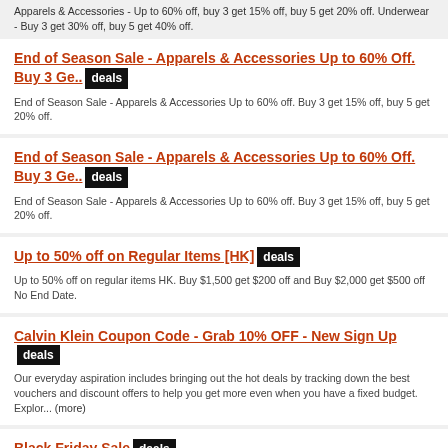Apparels & Accessories - Up to 60% off, buy 3 get 15% off, buy 5 get 20% off. Underwear - Buy 3 get 30% off, buy 5 get 40% off.
End of Season Sale - Apparels & Accessories Up to 60% Off. Buy 3 Ge.. deals
End of Season Sale - Apparels & Accessories Up to 60% off. Buy 3 get 15% off, buy 5 get 20% off.
End of Season Sale - Apparels & Accessories Up to 60% Off. Buy 3 Ge.. deals
End of Season Sale - Apparels & Accessories Up to 60% off. Buy 3 get 15% off, buy 5 get 20% off.
Up to 50% off on Regular Items [HK] deals
Up to 50% off on regular items HK. Buy $1,500 get $200 off and Buy $2,000 get $500 off No End Date.
Calvin Klein Coupon Code - Grab 10% OFF - New Sign Up deals
Our everyday aspiration includes bringing out the hot deals by tracking down the best vouchers and discount offers to help you get more even when you have a fixed budget. Explor... (more)
Black Friday Sale deals
Get Up to 30% OFF + Extra 10% OFF Sitewide.